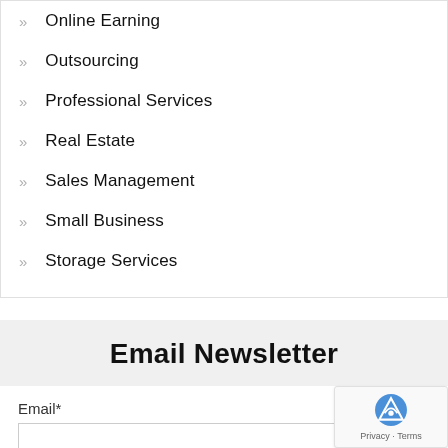Online Earning
Outsourcing
Professional Services
Real Estate
Sales Management
Small Business
Storage Services
Email Newsletter
Email*